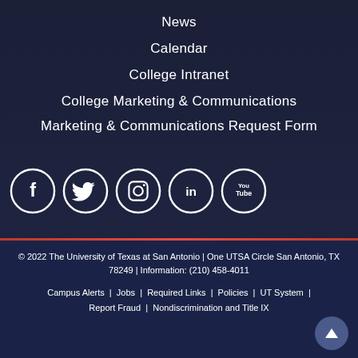News
Calendar
College Intranet
College Marketing & Communications
Marketing & Communications Request Form
[Figure (illustration): Social media icons in white circles on dark background: Facebook, Twitter, Instagram, LinkedIn, YouTube]
© 2022 The University of Texas at San Antonio | One UTSA Circle San Antonio, TX 78249 | Information: (210) 458-4011
Campus Alerts | Jobs | Required Links | Policies | UT System | Report Fraud | Nondiscrimination and Title IX